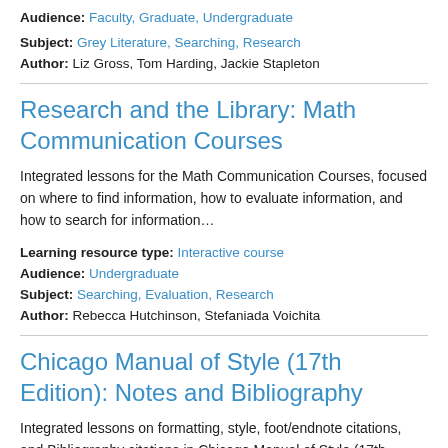Audience: Faculty, Graduate, Undergraduate
Subject: Grey Literature, Searching, Research
Author: Liz Gross, Tom Harding, Jackie Stapleton
Research and the Library: Math Communication Courses
Integrated lessons for the Math Communication Courses, focused on where to find information, how to evaluate information, and how to search for information…
Learning resource type: Interactive course
Audience: Undergraduate
Subject: Searching, Evaluation, Research
Author: Rebecca Hutchinson, Stefaniada Voichita
Chicago Manual of Style (17th Edition): Notes and Bibliography
Integrated lessons on formatting, style, foot/endnote citations, and Bibliography citations in Chicago Manual of Style (17th Edition):